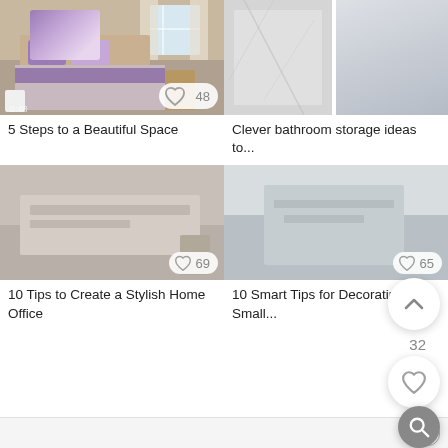[Figure (photo): Bedroom with purple pillows and bedspread]
5 Steps to a Beautiful Space
[Figure (photo): Bathroom storage with marble tiles, two panel view]
Clever bathroom storage ideas to...
[Figure (photo): Home office placeholder image]
10 Tips to Create a Stylish Home Office
[Figure (photo): Small room decorating placeholder image]
10 Smart Tips for Decorating a Small...